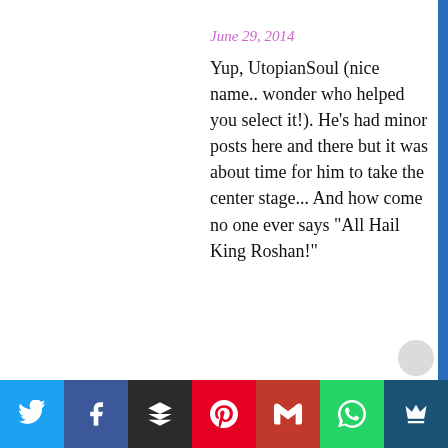June 29, 2014
Yup, UtopianSoul (nice name.. wonder who helped you select it!). He's had minor posts here and there but it was about time for him to take the center stage... And how come no one ever says "All Hail King Roshan!"
[Figure (other): Social sharing bar at bottom with icons for Twitter, Facebook, Buffer, Pinterest, Gmail/Email, WhatsApp, and a crown/bookmark button]